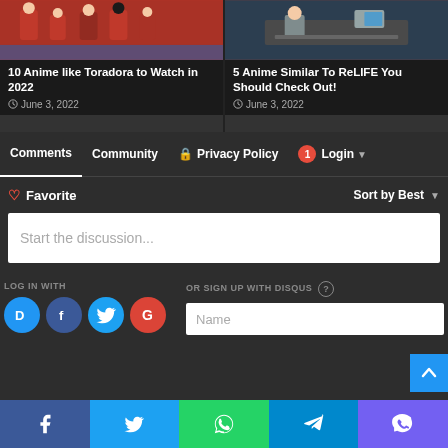[Figure (screenshot): Top section showing two anime article cards with dark background. Left card shows anime characters in red uniforms, right card shows a character at a desk.]
10 Anime like Toradora to Watch in 2022
June 3, 2022
5 Anime Similar To ReLIFE You Should Check Out!
June 3, 2022
Comments | Community | Privacy Policy | Login
♡ Favorite | Sort by Best
Start the discussion...
LOG IN WITH
OR SIGN UP WITH DISQUS ?
Name
Facebook | Twitter | WhatsApp | Telegram | Viber